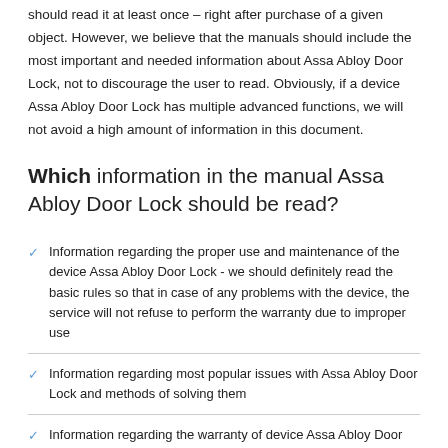should read it at least once – right after purchase of a given object. However, we believe that the manuals should include the most important and needed information about Assa Abloy Door Lock, not to discourage the user to read. Obviously, if a device Assa Abloy Door Lock has multiple advanced functions, we will not avoid a high amount of information in this document.
Which information in the manual Assa Abloy Door Lock should be read?
Information regarding the proper use and maintenance of the device Assa Abloy Door Lock - we should definitely read the basic rules so that in case of any problems with the device, the service will not refuse to perform the warranty due to improper use
Information regarding most popular issues with Assa Abloy Door Lock and methods of solving them
Information regarding the warranty of device Assa Abloy Door Lock